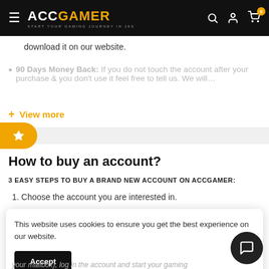ACCGAMER - START YOUR GAMING JOURNEY IN 10S
download it on our website.
90 Days Money Back: If you do not touch the account after your purchase & you don't use it feel free to tell us. We will…
+ View more
How to buy an account?
3 EASY STEPS TO BUY A BRAND NEW ACCOUNT ON ACCGAMER:
1. Choose the account you are interested in.
This website uses cookies to ensure you get the best experience on our website.
your mailbox), log in the account and start your gaming